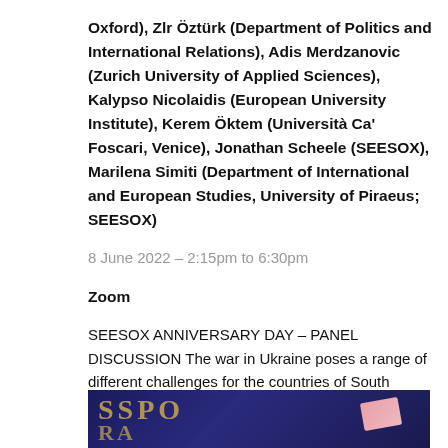Oxford), Zlr Öztürk (Department of Politics and International Relations), Adis Merdzanovic (Zurich University of Applied Sciences), Kalypso Nicolaidis (European University Institute), Kerem Öktem (Università Ca' Foscari, Venice), Jonathan Scheele (SEESOX), Marilena Simiti (Department of International and European Studies, University of Piraeus; SEESOX)
8 June 2022 – 2:15pm to 6:30pm
Zoom
SEESOX ANNIVERSARY DAY – PANEL DISCUSSION The war in Ukraine poses a range of different challenges for the countries of South Eastern Europe. Panels of in-house experts on the region will look at two… Read more
[Figure (photo): A dark navy blue passport with gold embossed letters partially visible (SSPO, RA), with a pink card/document partially visible in the corner]